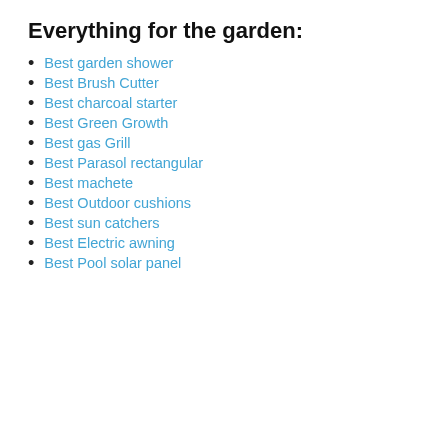Everything for the garden:
Best garden shower
Best Brush Cutter
Best charcoal starter
Best Green Growth
Best gas Grill
Best Parasol rectangular
Best machete
Best Outdoor cushions
Best sun catchers
Best Electric awning
Best Pool solar panel